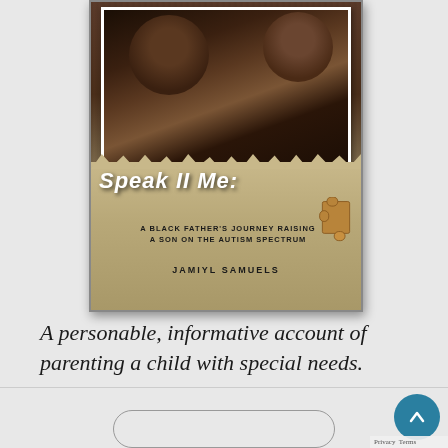[Figure (photo): Book cover of 'Speak II Me: A Black Father's Journey Raising a Son on the Autism Spectrum' by Jamiyl Samuels. Shows two smiling people in a photo-style image with a torn paper effect over a wood background, featuring the book title in large stylized text and a puzzle piece.]
A personable, informative account of parenting a child with special needs.